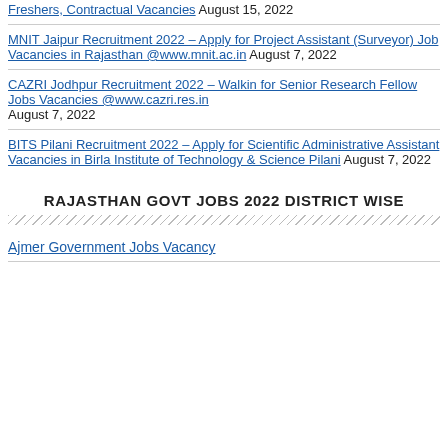Freshers, Contractual Vacancies August 15, 2022
MNIT Jaipur Recruitment 2022 – Apply for Project Assistant (Surveyor) Job Vacancies in Rajasthan @www.mnit.ac.in August 7, 2022
CAZRI Jodhpur Recruitment 2022 – Walkin for Senior Research Fellow Jobs Vacancies @www.cazri.res.in August 7, 2022
BITS Pilani Recruitment 2022 – Apply for Scientific Administrative Assistant Vacancies in Birla Institute of Technology & Science Pilani August 7, 2022
RAJASTHAN GOVT JOBS 2022 DISTRICT WISE
Ajmer Government Jobs Vacancy